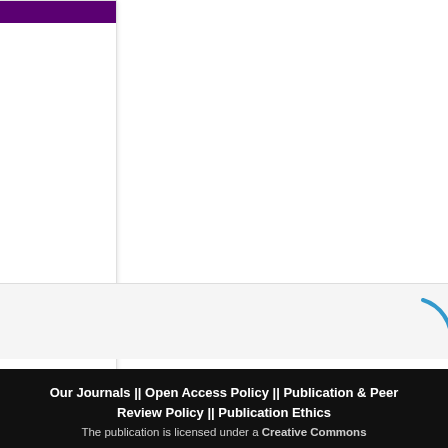[Figure (other): Left sidebar card with dark purple top bar, large letter O in purple, purple divider line, and a blue hyperlink text at bottom]
[Figure (other): Loading spinner arc in blue, partially visible at right edge of page]
Our Journals || Open Access Policy || Publication & Peer Review Policy || Publication Ethics
The publication is licensed under a Creative Commons